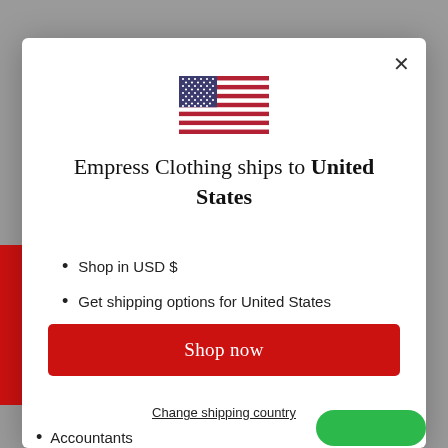[Figure (illustration): US flag emoji/icon centered at top of modal dialog]
Empress Clothing ships to United States
Shop in USD $
Get shipping options for United States
Shop now
Change shipping country
Accountants